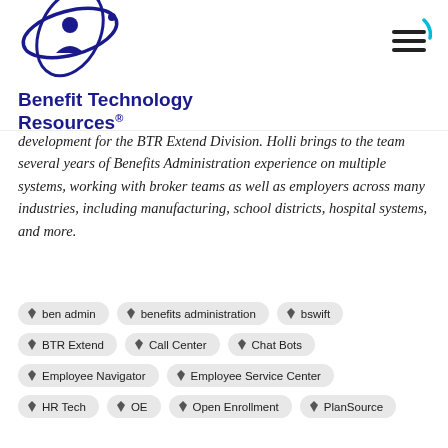[Figure (logo): Benefit Technology Resources logo with orbital graphic and bold navy text]
development for the BTR Extend Division. Holli brings to the team several years of Benefits Administration experience on multiple systems, working with broker teams as well as employers across many industries, including manufacturing, school districts, hospital systems, and more.
ben admin
benefits administration
bswift
BTR Extend
Call Center
Chat Bots
Employee Navigator
Employee Service Center
HR Tech
OE
Open Enrollment
PlanSource